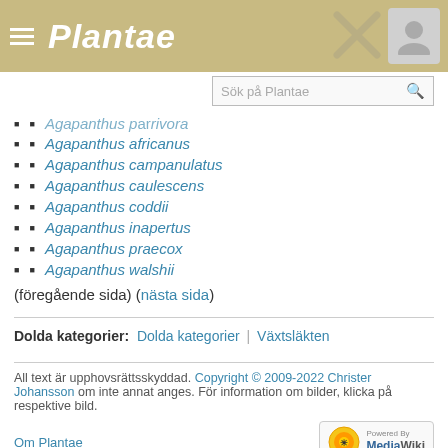Plantae
Agapanthus prarivora (partial, cut off)
Agapanthus africanus
Agapanthus campanulatus
Agapanthus caulescens
Agapanthus coddii
Agapanthus inapertus
Agapanthus praecox
Agapanthus walshii
(föregående sida) (nästa sida)
Dolda kategorier: Dolda kategorier | Växtsläkten
All text är upphovsrättsskyddad. Copyright © 2009-2022 Christer Johansson om inte annat anges. För information om bilder, klicka på respektive bild.
Om Plantae